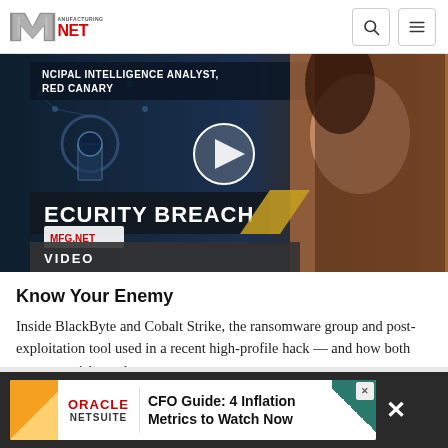Manufacturing.net
[Figure (screenshot): Video thumbnail showing a cybersecurity segment titled 'Security Breach' on Manufacturing.net. Left side shows dark digital background with keyhole graphic and text 'PRINCIPAL INTELLIGENCE ANALYST, RED CANARY'. Center has a play button icon. Right side shows a woman with long brown hair. Bottom has a dark overlay label reading 'VIDEO'.]
Know Your Enemy
Inside BlackByte and Cobalt Strike, the ransomware group and post-exploitation tool used in a recent high-profile hack — and how both pose new risks to the…
March 3, 2022
[Figure (screenshot): Advertisement banner for Oracle NetSuite: 'CFO Guide: 4 Inflation Metrics to Watch Now'. Dark background bar with white ad content area, orange corner accent, Oracle NetSuite logo in red, teal corner graphic on right, and close (X) buttons.]